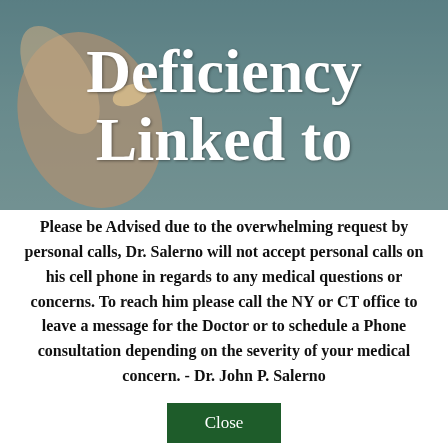[Figure (photo): A hand holding a supplement pill/tablet against a blurred sky background. Large white bold text overlay reads 'Deficiency Linked to' with partial text cut off at top and bottom.]
Deficiency Linked to
Please be Advised due to the overwhelming request by personal calls, Dr. Salerno will not accept personal calls on his cell phone in regards to any medical questions or concerns. To reach him please call the NY or CT office to leave a message for the Doctor or to schedule a Phone consultation depending on the severity of your medical concern. - Dr. John P. Salerno